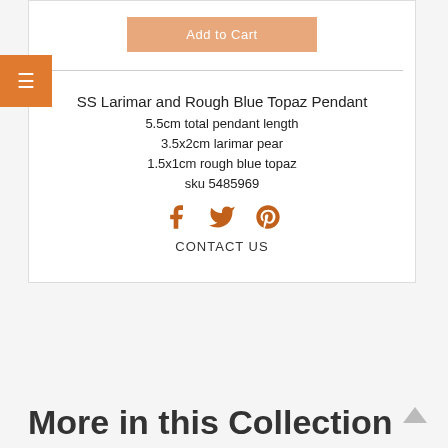Add to Cart
SS Larimar and Rough Blue Topaz Pendant
5.5cm total pendant length
3.5x2cm larimar pear
1.5x1cm rough blue topaz
sku 5485969
[Figure (infographic): Social media share icons: Facebook, Twitter, Pinterest in brown/orange color]
CONTACT US
More in this Collection